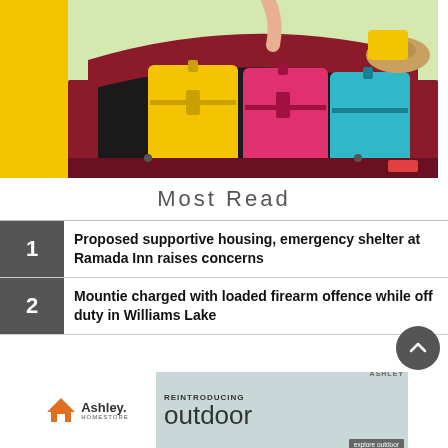[Figure (photo): Open trunk of a red SUV packed with colorful luggage suitcases (yellow, pink, cyan), with a person visible; yellow decorative bar on the left side]
Most Read
1 Proposed supportive housing, emergency shelter at Ramada Inn raises concerns
2 Mountie charged with loaded firearm offence while off duty in Williams Lake
[Figure (other): Ashley HomeStore advertisement banner: REINTRODUCING outdoor, with explore outdoor button, and outdoor furniture imagery]